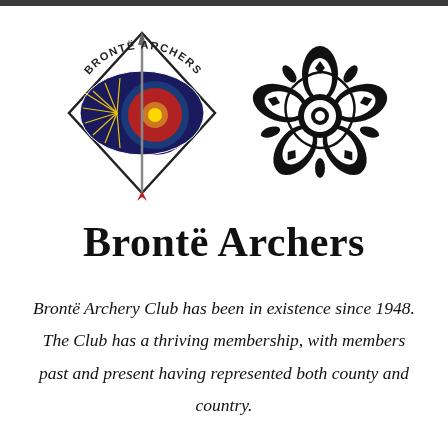[Figure (logo): Two logos side by side: left is the Brontë Archers club logo featuring an archery target eye design with a diamond shape, bow and arrow, and text 'BRONTË ARCHERS' arched above; right is a black and white Yorkshire rose emblem.]
Brontë Archers
Brontë Archery Club has been in existence since 1948. The Club has a thriving membership, with members past and present having represented both county and country.